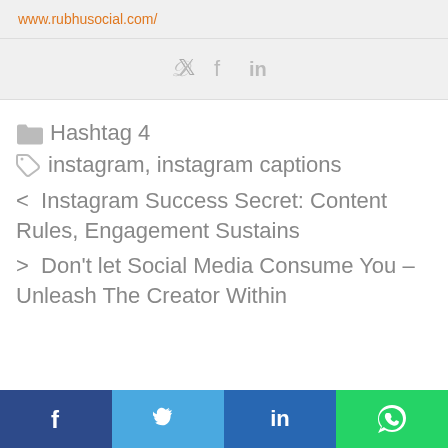www.rubhusocial.com/
[Figure (other): Social share icons: Twitter, Facebook, LinkedIn]
Hashtag 4
instagram, instagram captions
< Instagram Success Secret: Content Rules, Engagement Sustains
> Don't let Social Media Consume You – Unleash The Creator Within
[Figure (other): Bottom social share bar with Facebook, Twitter, LinkedIn, WhatsApp icons]